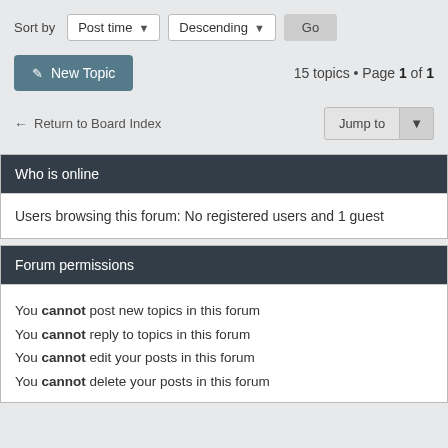Sort by  Post time ▾  Descending ▾  Go
✎ New Topic   15 topics • Page 1 of 1
← Return to Board Index   Jump to ▾
Who is online
Users browsing this forum: No registered users and 1 guest
Forum permissions
You cannot post new topics in this forum
You cannot reply to topics in this forum
You cannot edit your posts in this forum
You cannot delete your posts in this forum